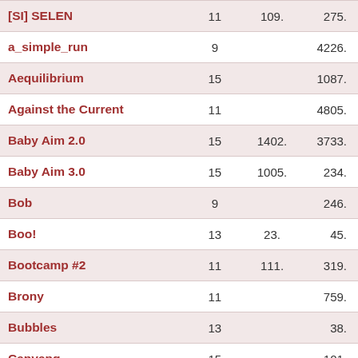| [SI] SELEN | 11 | 109. | 275. |
| a_simple_run | 9 |  | 4226. |
| Aequilibrium | 15 |  | 1087. |
| Against the Current | 11 |  | 4805. |
| Baby Aim 2.0 | 15 | 1402. | 3733. |
| Baby Aim 3.0 | 15 | 1005. | 234. |
| Bob | 9 |  | 246. |
| Boo! | 13 | 23. | 45. |
| Bootcamp #2 | 11 | 111. | 319. |
| Brony | 11 |  | 759. |
| Bubbles | 13 |  | 38. |
| Canyang | 15 |  | 101. |
| Captain America | 9 |  | 1748. |
| Casa der Merde | 15 |  | 1612. |